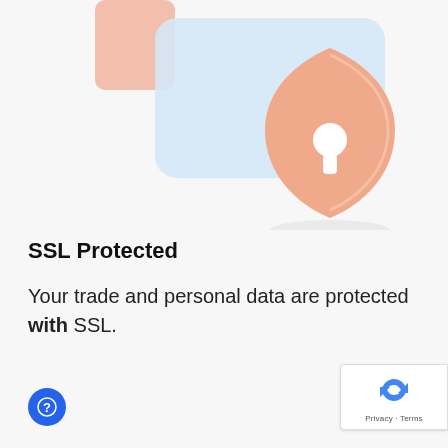[Figure (illustration): Security illustration with a peach/salmon shield with keyhole icon centered-right, overlapping a light blue rounded rectangle card, with a small salmon rectangle peeking from the top-left, all on a light grey background]
SSL Protected
Your trade and personal data are protected with SSL.
[Figure (logo): reCAPTCHA badge with blue recycling-arrow robot icon and 'Privacy - Terms' text below]
[Figure (other): Blue circular button with white question mark icon]